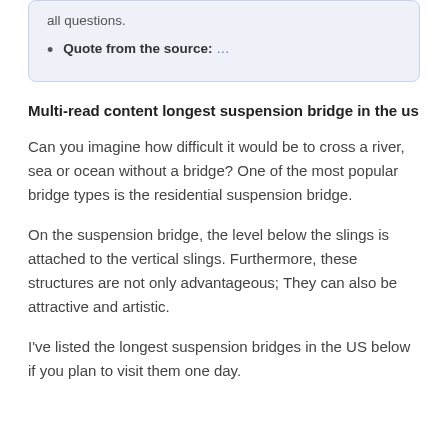Quote from the source: …
Multi-read content longest suspension bridge in the us
Can you imagine how difficult it would be to cross a river, sea or ocean without a bridge? One of the most popular bridge types is the residential suspension bridge.
On the suspension bridge, the level below the slings is attached to the vertical slings. Furthermore, these structures are not only advantageous; They can also be attractive and artistic.
I've listed the longest suspension bridges in the US below if you plan to visit them one day.